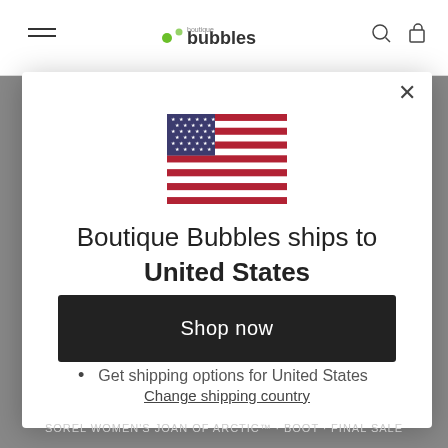Boutique Bubbles
[Figure (illustration): US flag icon inside modal dialog]
Boutique Bubbles ships to United States
Shop in USD $
Get shipping options for United States
Shop now
Change shipping country
SOREL WOMEN'S JOAN OF ARCTIC™ · BOOT · FINAL SALE